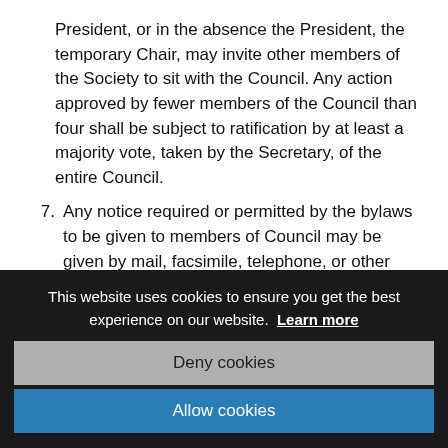President, or in the absence the President, the temporary Chair, may invite other members of the Society to sit with the Council. Any action approved by fewer members of the Council than four shall be subject to ratification by at least a majority vote, taken by the Secretary, of the entire Council.
7. Any notice required or permitted by the bylaws to be given to members of Council may be given by mail, facsimile, telephone, or other electronic means.
This website uses cookies to ensure you get the best experience on our website. Learn more
Deny cookies
Allow cookies